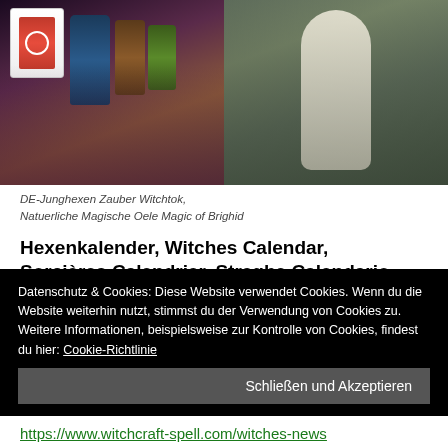[Figure (photo): Two-panel hero image: left panel shows a woman with magical/witchcraft products (bottles labeled 'Magic of Brighid'), right panel shows a woman in white in a misty forest.]
DE-Junghexen Zauber Witchtok,
Natuerliche Magische Oele Magic of Brighid
Hexenkalender, Witches Calendar, Sorcières Calendrier, Streghe Calendario Link:
https://sites.google.com/view/hexenkalender
Hexenbücher Buch der Schatten Link:
https://sites.google.com/view/hexenbuch
Liebeszauber Tinten Link:
Datenschutz & Cookies: Diese Website verwendet Cookies. Wenn du die Website weiterhin nutzt, stimmst du der Verwendung von Cookies zu. Weitere Informationen, beispielsweise zur Kontrolle von Cookies, findest du hier: Cookie-Richtlinie
https://www.witchcraft-spell.com/witches-news